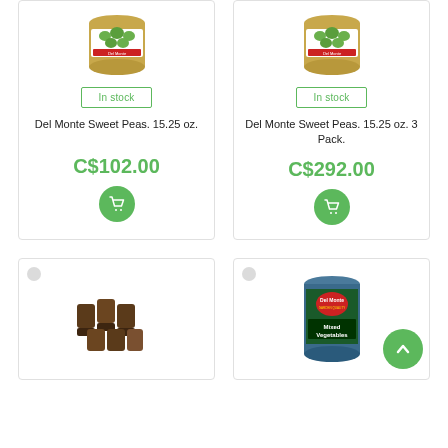[Figure (photo): Product card: Del Monte Sweet Peas can, In stock badge, price C$102.00, cart button]
[Figure (photo): Product card: Del Monte Sweet Peas 3 Pack can, In stock badge, price C$292.00, cart button]
[Figure (photo): Product card bottom left: brown food item (tamales or similar), partial view]
[Figure (photo): Product card bottom right: Del Monte Mixed Vegetables can, with scroll-to-top green button overlay]